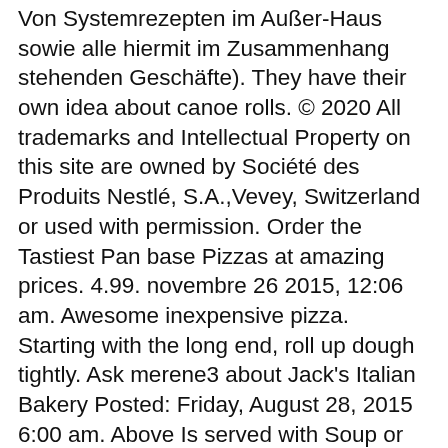Von Systemrezepten im Außer-Haus sowie alle hiermit im Zusammenhang stehenden Geschäfte). They have their own idea about canoe rolls. © 2020 All trademarks and Intellectual Property on this site are owned by Société des Produits Nestlé, S.A.,Vevey, Switzerland or used with permission. Order the Tastiest Pan base Pizzas at amazing prices. 4.99. novembre 26 2015, 12:06 am. Awesome inexpensive pizza. Starting with the long end, roll up dough tightly. Ask merene3 about Jack's Italian Bakery Posted: Friday, August 28, 2015 6:00 am. Above Is served with Soup or Salad of Your Choice and Garlic Rolls Salads - Garden, Caesar, Greek . Jack-pot our back breaking 14 topping offering, with everything but the kitchen sink (and anchovies). JACK'S Cheesy Pizza Dippers Pizza Fries. If you are a resident of another country or region, please select the appropriate version of Tripadvisor for your country or region in the drop-down menu. Clear Search. " Well Jack, after 20 years or so baking you have inspired me to take home bread to a new level because you talk about all the things that go through my mind. Build Your Own Calzone Watch the calzone of your wildest